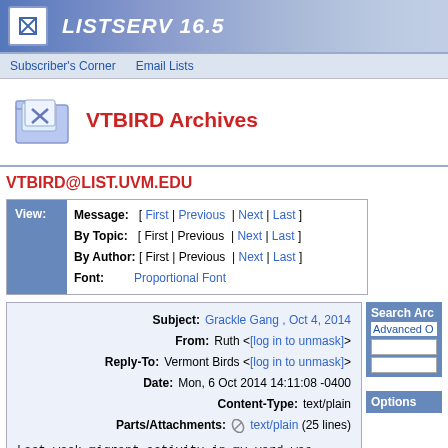LISTSERV 16.5
Subscriber's Corner   Email Lists
[Figure (logo): Folder icon with letter X for VTBIRD Archives]
VTBIRD Archives
VTBIRD@LIST.UVM.EDU
| View: | Message: | [ First | Previous | Next | Last ] |
|  | By Topic: | [ First | Previous | Next | Last ] |
|  | By Author: | [ First | Previous | Next | Last ] |
|  | Font: | Proportional Font |
| Subject: | Grackle Gang , Oct 4, 2014 |
| From: | Ruth <[log in to unmask]> |
| Reply-To: | Vermont Birds <[log in to unmask]> |
| Date: | Mon, 6 Oct 2014 14:11:08 -0400 |
| Content-Type: | text/plain |
| Parts/Attachments: | text/plain (25 lines) |
Last week migrant activity in my yard was intense every morning from 8-9.... mostly